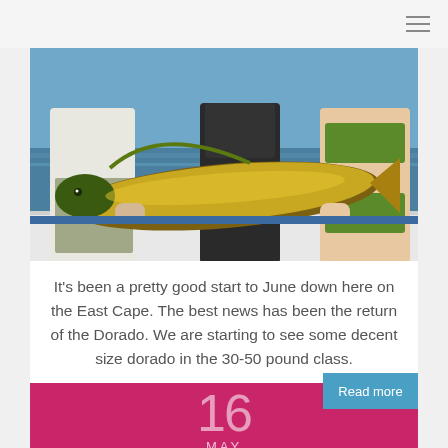Navigation menu (hamburger icon)
[Figure (photo): Two people on a boat holding a large Dorado (mahi-mahi) fish. A man in a white long-sleeve shirt and camo shorts on the left, a woman in a green bikini on the right. Blue ocean water in the background.]
It's been a pretty good start to June down here on the East Cape. The best news has been the return of the Dorado. We are starting to see some decent size dorado in the 30-50 pound class.
Read more
16
MAY